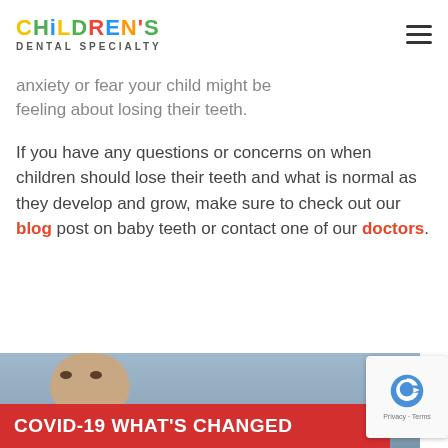CHILDREN'S DENTAL SPECIALTY
anxiety or fear your child might be feeling about losing their teeth.
If you have any questions or concerns on when children should lose their teeth and what is normal as they develop and grow, make sure to check out our blog post on baby teeth or contact one of our doctors.
[Figure (photo): Photo of a child, partially visible at the bottom of the page with a red COVID-19 banner overlay reading 'COVID-19 WHAT'S CHANGED']